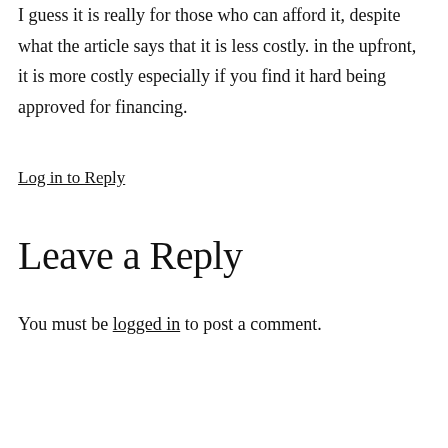I guess it is really for those who can afford it, despite what the article says that it is less costly. in the upfront, it is more costly especially if you find it hard being approved for financing.
Log in to Reply
Leave a Reply
You must be logged in to post a comment.